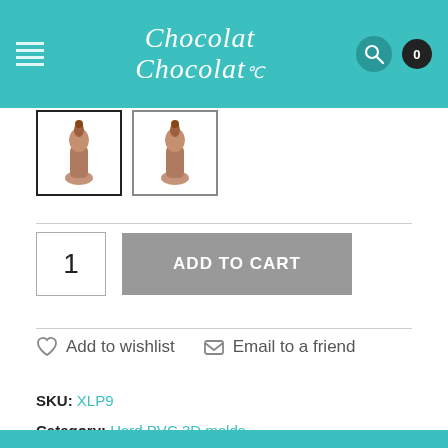Chocolat Chocolat — navigation header with logo, search, and cart
[Figure (photo): Two product thumbnail images of chocolate figurines (small Santa-like shapes) in bordered boxes]
1
ADD TO CART
Add to wishlist
Email to a friend
SKU: XLP9
Category: Hard PVC 3D molds